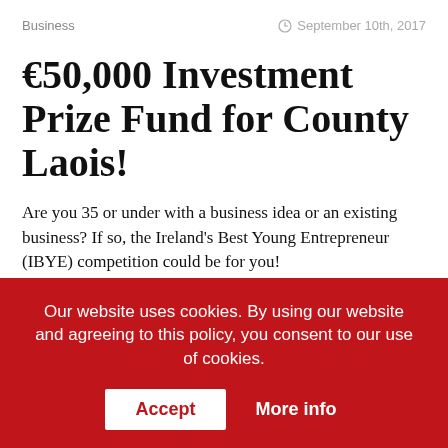Business | September 10th, 2017
€50,000 Investment Prize Fund for County Laois!
Are you 35 or under with a business idea or an existing business? If so, the Ireland's Best Young Entrepreneur (IBYE) competition could be for you!
Almost any young person with a business idea can enter the competition. It doesn't matter what your background is – all that matters is that you have a good business idea
Our website uses cookies. By using our website and agreeing to this policy, you consent to our use of cookies.